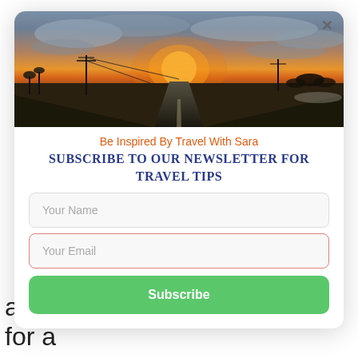[Figure (photo): Sunset over a flat rural road stretching to the horizon, with utility poles and bare trees silhouetted against an orange and cloudy sky.]
Be Inspired By Travel With Sara
Subscribe to our Newsletter for Travel Tips
Your Name
Your Email
Subscribe
as well as a c ⚡ by Convertful ng for a